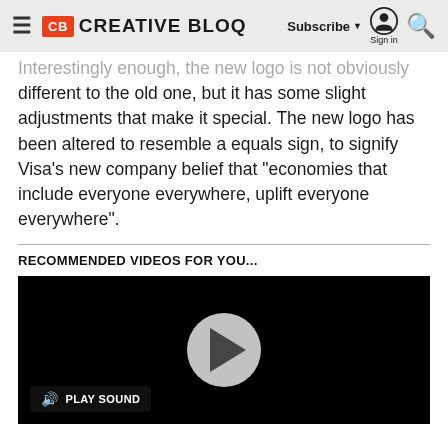CB CREATIVE BLOQ | Subscribe ▼ | Sign in | 🔍
Interestingly enough, the new logo is not obviously different to the old one, but it has some slight adjustments that make it special. The new logo has been altered to resemble a equals sign, to signify Visa's new company belief that "economies that include everyone everywhere, uplift everyone everywhere".
RECOMMENDED VIDEOS FOR YOU...
[Figure (screenshot): Black video player with a grey circular play button in the center and a 'PLAY SOUND' button with speaker icon in the bottom left]